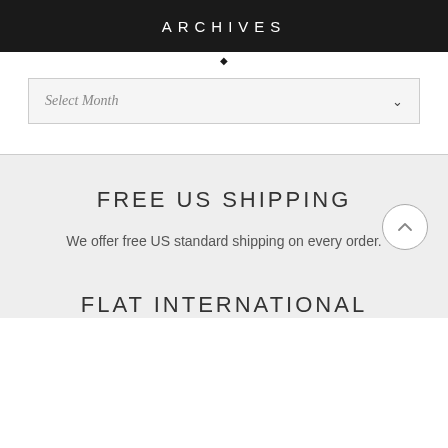ARCHIVES
Select Month
FREE US SHIPPING
We offer free US standard shipping on every order.
FLAT INTERNATIONAL